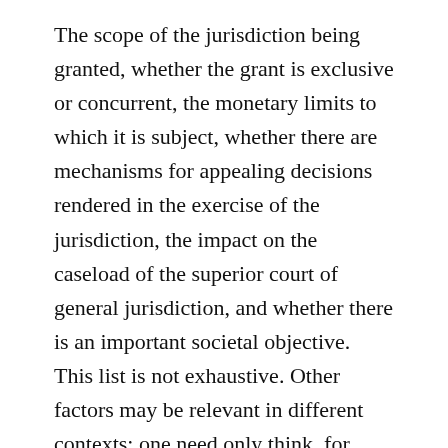The scope of the jurisdiction being granted, whether the grant is exclusive or concurrent, the monetary limits to which it is subject, whether there are mechanisms for appealing decisions rendered in the exercise of the jurisdiction, the impact on the caseload of the superior court of general jurisdiction, and whether there is an important societal objective. This list is not exhaustive. Other factors may be relevant in different contexts: one need only think, for example, of geographical limitations.
Given that the grant of power in this case was